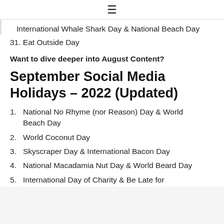≡
International Whale Shark Day & National Beach Day
31. Eat Outside Day
Want to dive deeper into August Content?
September Social Media Holidays – 2022 (Updated)
1. National No Rhyme (nor Reason) Day & World Beach Day
2. World Coconut Day
3. Skyscraper Day & International Bacon Day
4. National Macadamia Nut Day & World Beard Day
5. International Day of Charity & Be Late for